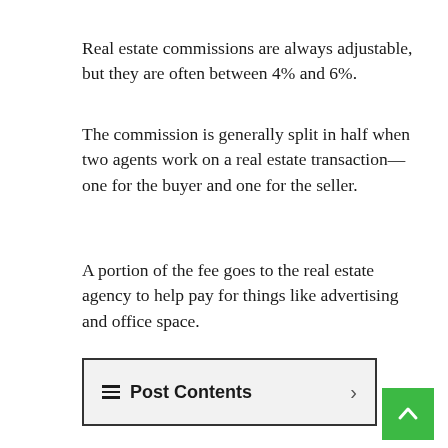Real estate commissions are always adjustable, but they are often between 4% and 6%.
The commission is generally split in half when two agents work on a real estate transaction—one for the buyer and one for the seller.
A portion of the fee goes to the real estate agency to help pay for things like advertising and office space.
☰ Post Contents
What Are Real Estate Commissions And How Do They Work?